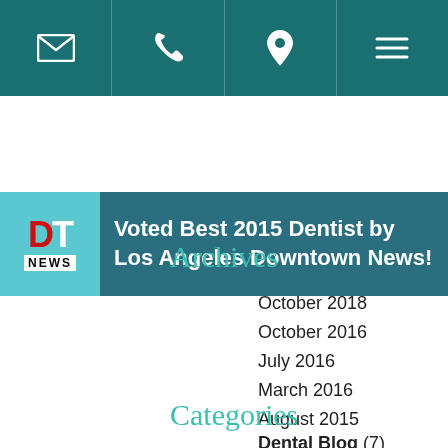Navigation bar with email, phone, location, and menu icons
[Figure (logo): DT News logo banner with text: Voted Best 2015 Dentist by Los Angeles Downtown News!]
Archives
October 2018
October 2016
July 2016
March 2016
August 2015
March 2011
February 2011
Categories
Dental Blog (7)